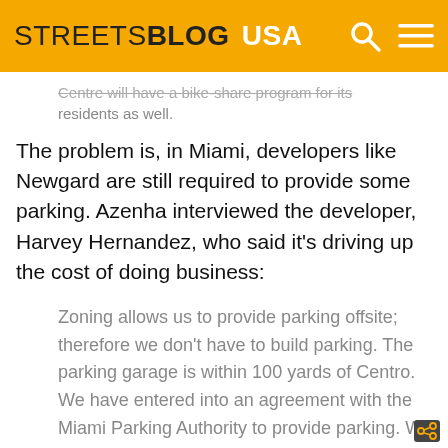STREETSBLOG USA
…Centre will have a bike-share program for its residents as well.
The problem is, in Miami, developers like Newgard are still required to provide some parking. Azenha interviewed the developer, Harvey Hernandez, who said it's driving up the cost of doing business:
Zoning allows us to provide parking offsite; therefore we don't have to build parking. The parking garage is within 100 yards of Centro. We have entered into an agreement with the Miami Parking Authority to provide parking. We also provide 24-hour valet service and there is always the car2go hub at our doorstep.